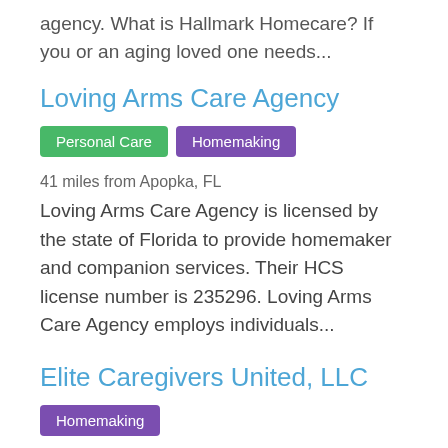agency. What is Hallmark Homecare? If you or an aging loved one needs...
Loving Arms Care Agency
Personal Care
Homemaking
41 miles from Apopka, FL
Loving Arms Care Agency is licensed by the state of Florida to provide homemaker and companion services. Their HCS license number is 235296. Loving Arms Care Agency employs individuals...
Elite Caregivers United, LLC
Homemaking